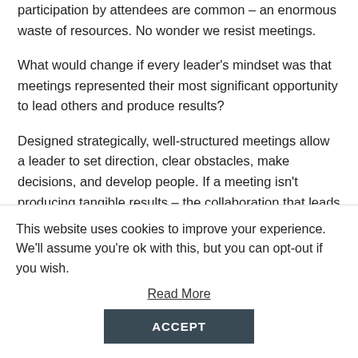participation by attendees are common – an enormous waste of resources. No wonder we resist meetings.
What would change if every leader's mindset was that meetings represented their most significant opportunity to lead others and produce results?
Designed strategically, well-structured meetings allow a leader to set direction, clear obstacles, make decisions, and develop people. If a meeting isn't producing tangible results – the collaboration that leads to problem-solving, decision making, direct…
This website uses cookies to improve your experience. We'll assume you're ok with this, but you can opt-out if you wish.
Read More
ACCEPT